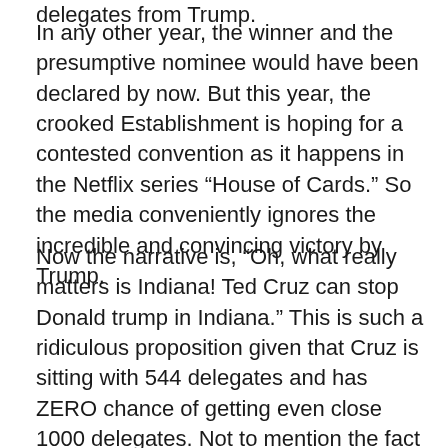delegates from Trump.
In any other year, the winner and the presumptive nominee would have been declared by now. But this year, the crooked Establishment is hoping for a contested convention as it happens in the Netflix series “House of Cards.” So the media conveniently ignores the incredible and convincing victory by Trump.
Now the narrative is, “Oh, what really matters is Indiana! Ted Cruz can stop Donald trump in Indiana.” This is such a ridiculous proposition given that Cruz is sitting with 544 delegates and has ZERO chance of getting even close 1000 delegates. Not to mention the fact that Cruz came in THIRD in four out of the five States tonight. This guy is the biggest joke in politics and the dishonest media keeps moving the goal post for Trump, hoping he would stumble before the convention.